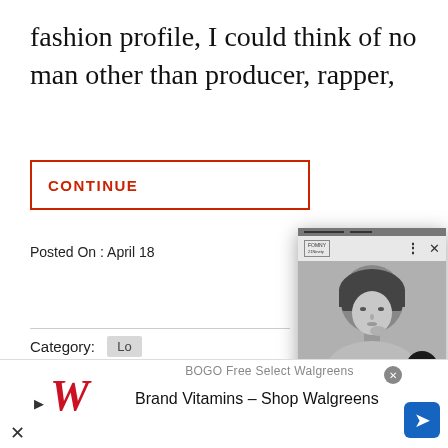fashion profile, I could think of no man other than producer, rapper,
CONTINUE
Posted On : April 18
Category: Lo
[Figure (screenshot): Popup overlay showing a black and white photo of a young woman with a bob haircut applying makeup, with the article title 'Why The Clean Girl Aesthetic Is Problematic - 21Ninety' and navigation arrow button. Header shows a logo and close/menu icons.]
Meeting in the Men's
[Figure (screenshot): Walgreens advertisement banner: BOGO Free Select Walgreens Brand Vitamins - Shop Walgreens, with Walgreens W logo, play button, navigation arrow icon, and close X button]